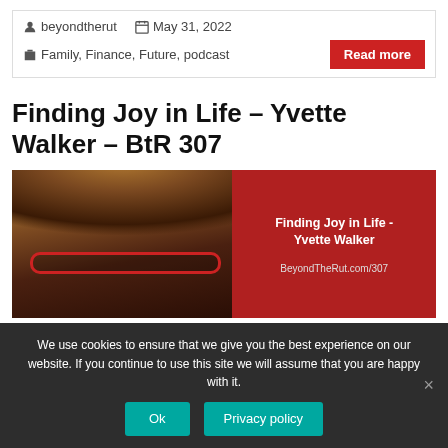beyondtherut  May 31, 2022  Family, Finance, Future, podcast
Finding Joy in Life – Yvette Walker – BtR 307
[Figure (photo): Podcast cover image split: left side shows a woman with curly hair and red glasses, right side is a red panel with text 'Finding Joy in Life - Yvette Walker' and 'BeyondTheRut.com/307']
We use cookies to ensure that we give you the best experience on our website. If you continue to use this site we will assume that you are happy with it.